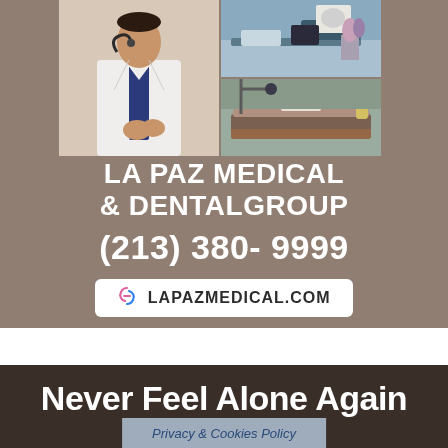[Figure (photo): Advertisement banner for La Paz Medical & Dental Group. Top section shows a doctor in white coat with stethoscope on the left, and two photos of a dental/medical office on the right. Taupe/brownish-gray background with white bold text showing clinic name, phone number, and website. Below is a dark brown banner starting with 'Never Feel Alone Again'.]
LA PAZ MEDICAL & DENTALGROUP
(213) 380- 9999
LAPAZMEDICAL.COM
Never Feel Alone Again
Privacy & Cookies Policy